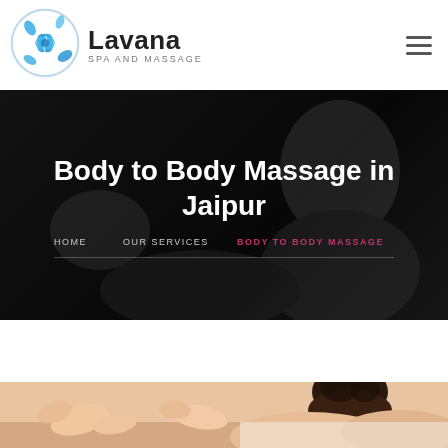[Figure (logo): Lavana Spa and Massage circular logo with blue water/floral swirl design]
Lavana SPA AND MASSAGE
Body to Body Massage in Jaipur
HOME   OUR SERVICES   BODY TO BODY MASSAGE
[Figure (photo): Massage therapy photo showing hands performing massage on a person's back/shoulders]